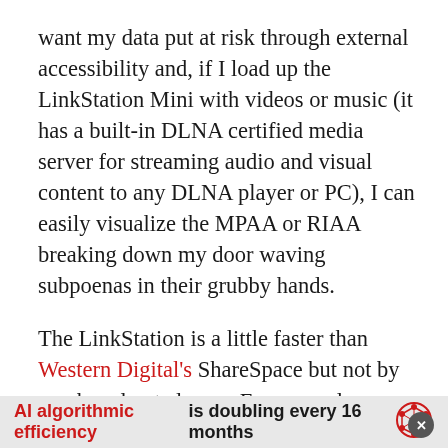want my data put at risk through external accessibility and, if I load up the LinkStation Mini with videos or music (it has a built-in DLNA certified media server for streaming audio and visual content to any DLNA player or PC), I can easily visualize the MPAA or RIAA breaking down my door waving subpoenas in their grubby hands.
The LinkStation is a little faster than Western Digital's ShareSpace but not by much and not always. For example, copying a collection of 4,661 files and folders (8.05GB) to the Mini took 11.4 minutes. That's two minutes quicker than the ShareSpace. However, both drives needed about 11 minutes to copy the
AI algorithmic efficiency is doubling every 16 months